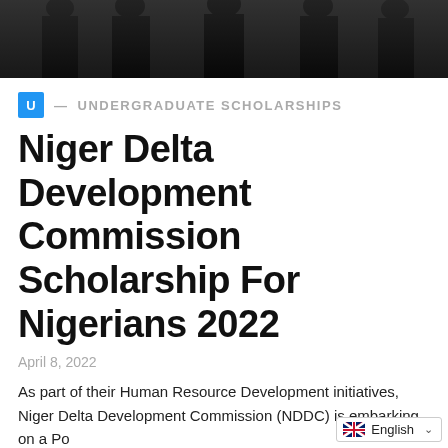[Figure (photo): Group of people in black graduation gowns and caps, cropped to show torsos and tops of caps, dark background]
U — UNDERGRADUATE SCHOLARSHIPS
Niger Delta Development Commission Scholarship For Nigerians 2022
April 8, 2022
As part of their Human Resource Development initiatives, Niger Delta Development Commission (NDDC) is embarking on a Po...